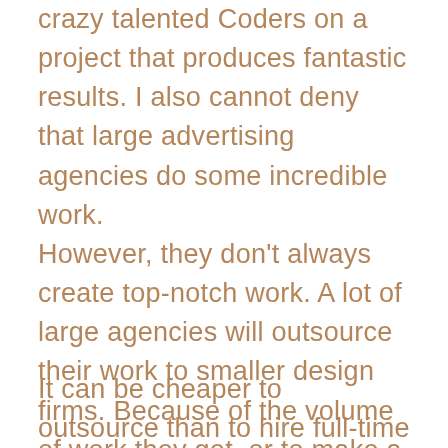crazy talented Coders on a project that produces fantastic results. I also cannot deny that large advertising agencies do some incredible work.
However, they don't always create top-notch work. A lot of large agencies will outsource their work to smaller design firms. Because of the volume of work they get, or to make a more significant profit.
It can be cheaper to outsource than to hire full-time employees.